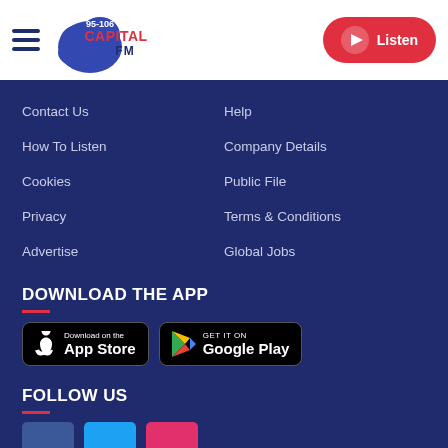[Figure (logo): Capital FM 95-106 radio station logo with blue cloud graphic]
Listen
Contact Us
Help
How To Listen
Company Details
Cookies
Public File
Privacy
Terms & Conditions
Advertise
Global Jobs
DOWNLOAD THE APP
[Figure (screenshot): Download on the App Store badge]
[Figure (screenshot): Get it on Google Play badge]
FOLLOW US